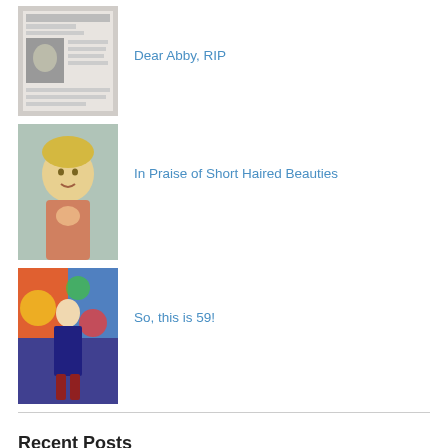[Figure (photo): Thumbnail image for 'Dear Abby, RIP' - appears to be a black and white newspaper clipping with a portrait photo]
Dear Abby, RIP
[Figure (photo): Thumbnail image for 'In Praise of Short Haired Beauties' - a photo of a young blonde child with short hair]
In Praise of Short Haired Beauties
[Figure (photo): Thumbnail image for 'So, this is 59!' - a woman standing in front of a colorful background]
So, this is 59!
Recent Posts
So, this is 59!
Rest in Peace, Little Cottontail
“Hallelujah: A Journey, A Song” – Review